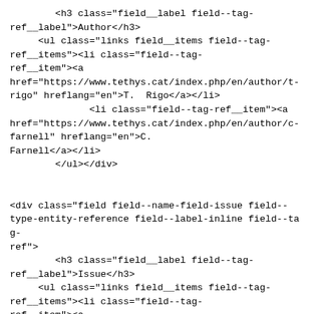&lt;h3 class="field__label field--tag-ref__label"&gt;Author&lt;/h3&gt;
     &lt;ul class="links field__items field--tag-ref__items"&gt;&lt;li class="field--tag-ref__item"&gt;&lt;a href="https://www.tethys.cat/index.php/en/author/t-rigo" hreflang="en"&gt;T.  Rigo&lt;/a&gt;&lt;/li&gt;
              &lt;li class="field--tag-ref__item"&gt;&lt;a href="https://www.tethys.cat/index.php/en/author/c-farnell" hreflang="en"&gt;C. Farnell&lt;/a&gt;&lt;/li&gt;
        &lt;/ul&gt;&lt;/div&gt;


&lt;div class="field field--name-field-issue field--type-entity-reference field--label-inline field--tag-ref"&gt;
        &lt;h3 class="field__label field--tag-ref__label"&gt;Issue&lt;/h3&gt;
     &lt;ul class="links field__items field--tag-ref__items"&gt;&lt;li class="field--tag-ref__item"&gt;&lt;a href="https://www.tethys.cat/index.php/en/issue/tethys-no-16" hreflang="en"&gt;Tethys no. 16&lt;/a&gt;&lt;/li&gt;
        &lt;/ul&gt;&lt;/div&gt;
&lt;span rel="schema:author"&gt;&lt;span lang="" about="https://www.tethys.cat/index.php/en/user/4" typeof="schema:Person" property="schema:name" datatype=""